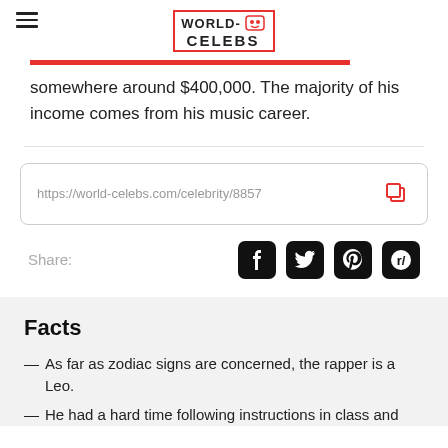WORLD-CELEBS
somewhere around $400,000. The majority of his income comes from his music career.
https://world-celebs.com/celebrity/8857
Share:
Facts
— As far as zodiac signs are concerned, the rapper is a Leo.
— He had a hard time following instructions in class and